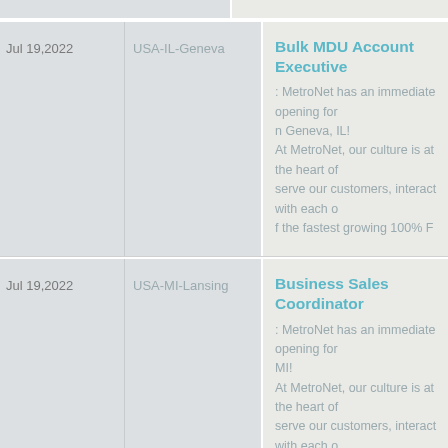| Date | Location | Job Posting |
| --- | --- | --- |
| Jul 19,2022 | USA-IL-Geneva | Bulk MDU Account Executive
: MetroNet has an immediate opening for n Geneva, IL!
At MetroNet, our culture is at the heart of serve our customers, interact with each o f the fastest growing 100% F |
| Jul 19,2022 | USA-MI-Lansing | Business Sales Coordinator
: MetroNet has an immediate opening for MI!
At MetroNet, our culture is at the heart of serve our customers, interact with each o f the fastest-growing 100% Fiber-Opti |
| Jul 19,2022 | USA-IN-Indianapolis | Business Sales Assistant
: MetroNet has an immediate opening for n Indianapolis, IN!
At MetroNet, our culture is at the heart of serve our customers, interact with each o f the fastest-growi |